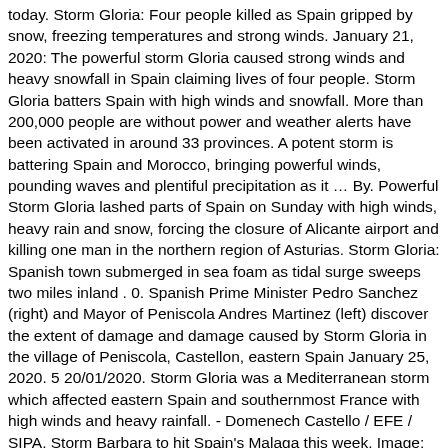today. Storm Gloria: Four people killed as Spain gripped by snow, freezing temperatures and strong winds. January 21, 2020: The powerful storm Gloria caused strong winds and heavy snowfall in Spain claiming lives of four people. Storm Gloria batters Spain with high winds and snowfall. More than 200,000 people are without power and weather alerts have been activated in around 33 provinces. A potent storm is battering Spain and Morocco, bringing powerful winds, pounding waves and plentiful precipitation as it … By. Powerful Storm Gloria lashed parts of Spain on Sunday with high winds, heavy rain and snow, forcing the closure of Alicante airport and killing one man in the northern region of Asturias. Storm Gloria: Spanish town submerged in sea foam as tidal surge sweeps two miles inland . 0. Spanish Prime Minister Pedro Sanchez (right) and Mayor of Peniscola Andres Martinez (left) discover the extent of damage and damage caused by Storm Gloria in the village of Peniscola, Castellon, eastern Spain January 25, 2020. 5 20/01/2020. Storm Gloria was a Mediterranean storm which affected eastern Spain and southernmost France with high winds and heavy rainfall. - Domenech Castello / EFE / SIPA. Storm Barbara to hit Spain's Malaga this week. Image: Copernicus EMS. 11 Jan, 2021 @ 15:00. Storm Gloria severely affected almost all of Spain, north of Galicia as far as Santander even suffered. The storm, named "Gloria" by the State Meteorological Agency of Spain, AEMET, produced waves of over 8 metres along the coastline of south-eastern Spain on 20 January. Huge